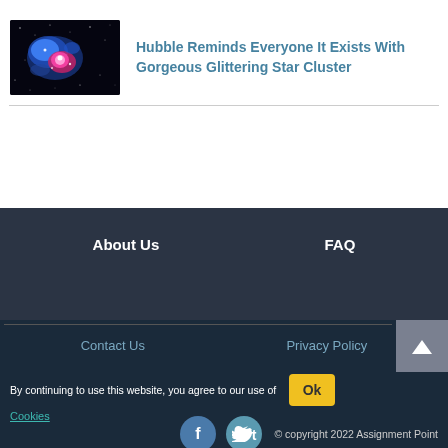[Figure (photo): Hubble telescope image of a glittering star cluster with blue and pink/magenta nebula against dark space background]
Hubble Reminds Everyone It Exists With Gorgeous Glittering Star Cluster
About Us
FAQ
Contact Us
Privacy Policy
By continuing to use this website, you agree to our use of Cookies
© copyright 2022 Assignment Point